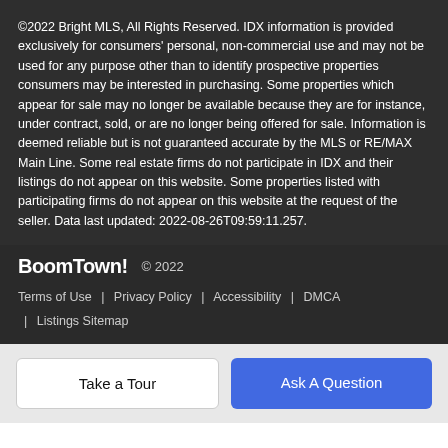©2022 Bright MLS, All Rights Reserved. IDX information is provided exclusively for consumers' personal, non-commercial use and may not be used for any purpose other than to identify prospective properties consumers may be interested in purchasing. Some properties which appear for sale may no longer be available because they are for instance, under contract, sold, or are no longer being offered for sale. Information is deemed reliable but is not guaranteed accurate by the MLS or RE/MAX Main Line. Some real estate firms do not participate in IDX and their listings do not appear on this website. Some properties listed with participating firms do not appear on this website at the request of the seller. Data last updated: 2022-08-26T09:59:11.257.
BoomTown! © 2022
Terms of Use | Privacy Policy | Accessibility | DMCA | Listings Sitemap
Take a Tour
Ask A Question